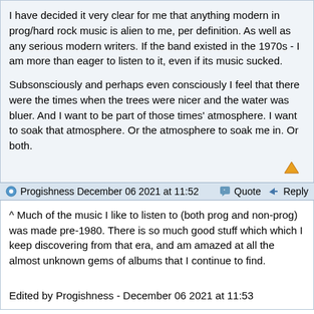I have decided it very clear for me that anything modern in prog/hard rock music is alien to me, per definition. As well as any serious modern writers. If the band existed in the 1970s - I am more than eager to listen to it, even if its music sucked.
Subsonsciously and perhaps even consciously I feel that there were the times when the trees were nicer and the water was bluer. And I want to be part of those times' atmosphere. I want to soak that atmosphere. Or the atmosphere to soak me in. Or both.
Progishness December 06 2021 at 11:52   Quote   Reply
^ Much of the music I like to listen to (both prog and non-prog) was made pre-1980. There is so much good stuff which which I keep discovering from that era, and am amazed at all the almost unknown gems of albums that I continue to find.
Edited by Progishness - December 06 2021 at 11:53